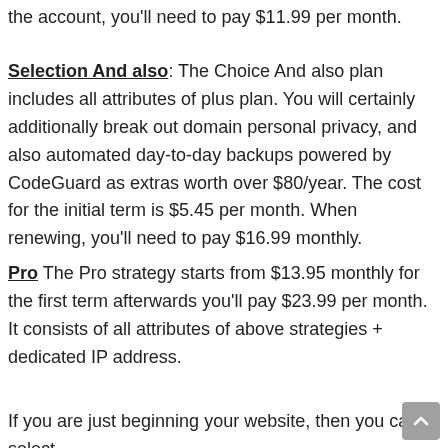the account, you'll need to pay $11.99 per month.
Selection And also: The Choice And also plan includes all attributes of plus plan. You will certainly additionally break out domain personal privacy, and also automated day-to-day backups powered by CodeGuard as extras worth over $80/year. The cost for the initial term is $5.45 per month. When renewing, you'll need to pay $16.99 monthly.
Pro The Pro strategy starts from $13.95 monthly for the first term afterwards you'll pay $23.99 per month. It consists of all attributes of above strategies + dedicated IP address.
If you are just beginning your website, then you can select